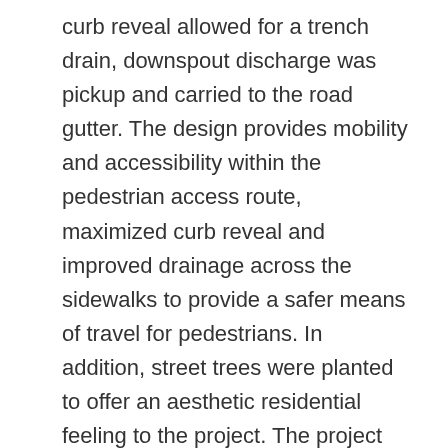curb reveal allowed for a trench drain, downspout discharge was pickup and carried to the road gutter. The design provides mobility and accessibility within the pedestrian access route, maximized curb reveal and improved drainage across the sidewalks to provide a safer means of travel for pedestrians. In addition, street trees were planted to offer an aesthetic residential feeling to the project. The project area is located in CT 0101.02 BG 2, which is an identified concentration of low to moderate income persons at 80.85%, Area POP 705, LMI POP 570. The project area consists of residential and mixed commercial along Logan Avenue, but is primarily residential in nature.